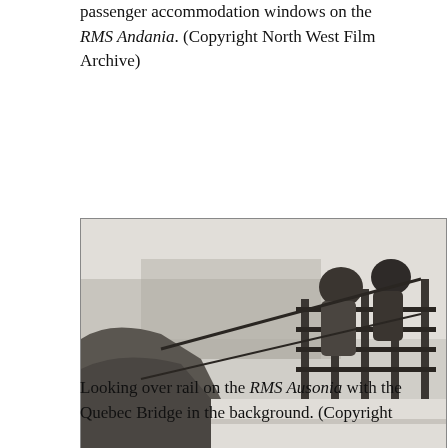passenger accommodation windows on the RMS Andania. (Copyright North West Film Archive)
[Figure (photo): Black and white photograph of people looking over a ship's rail, with a structure visible in the background. Caption states: Looking over rail on the RMS Ausonia with the Quebec Bridge in the background.]
Looking over rail on the RMS Ausonia with the Quebec Bridge in the background. (Copyright North West Film Archive)